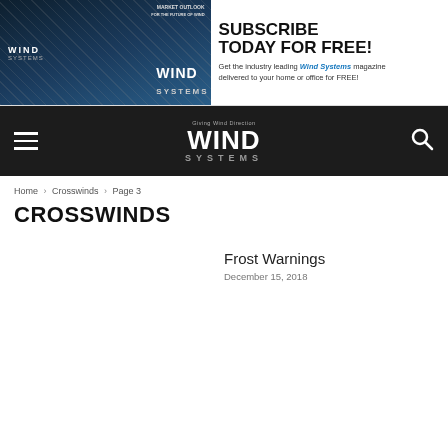[Figure (illustration): Wind Systems magazine subscription banner ad. Left half shows magazine cover images with dark blue/industrial background showing wind turbines. Right half shows text: SUBSCRIBE TODAY FOR FREE! Get the industry leading Wind Systems magazine delivered to your home or office for FREE!]
WIND SYSTEMS — navigation bar with hamburger menu, Wind Systems logo, and search icon
Home › Crosswinds › Page 3
CROSSWINDS
Frost Warnings
December 15, 2018